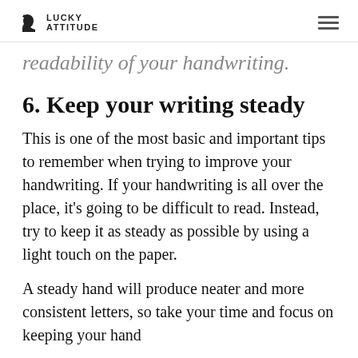LUCKY ATTITUDE
readability of your handwriting.
6. Keep your writing steady
This is one of the most basic and important tips to remember when trying to improve your handwriting. If your handwriting is all over the place, it's going to be difficult to read. Instead, try to keep it as steady as possible by using a light touch on the paper.
A steady hand will produce neater and more consistent letters, so take your time and focus on keeping your hand moving smoothly across the paper.